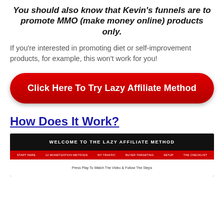You should also know that Kevin's funnels are to promote MMO (make money online) products only.
If you're interested in promoting diet or self-improvement products, for example, this won't work for you!
[Figure (other): Red pill-shaped CTA button with white bold text: Click Here To Try Lazy Affiliate Method]
How Does It Work?
[Figure (screenshot): Screenshot of the Lazy Affiliate Method website showing welcome header, red navigation bar with menu items, and text 'Press Play To Watch The Video & Follow The Steps']